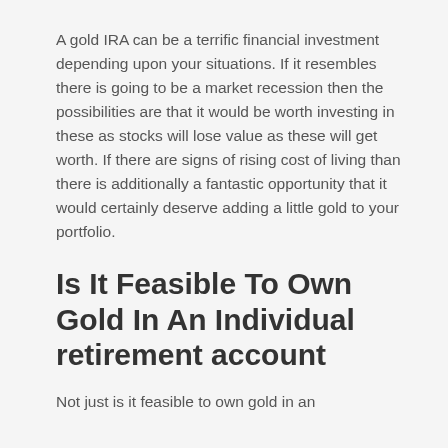A gold IRA can be a terrific financial investment depending upon your situations. If it resembles there is going to be a market recession then the possibilities are that it would be worth investing in these as stocks will lose value as these will get worth. If there are signs of rising cost of living than there is additionally a fantastic opportunity that it would certainly deserve adding a little gold to your portfolio.
Is It Feasible To Own Gold In An Individual retirement account
Not just is it feasible to own gold in an